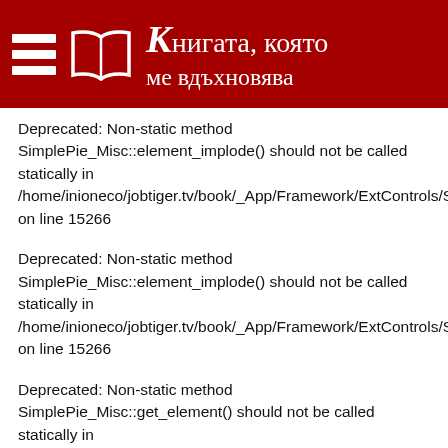Книгата, която ме вдъхновява
Deprecated: Non-static method SimplePie_Misc::element_implode() should not be called statically in /home/inioneco/jobtiger.tv/book/_App/Framework/ExtControls/Si on line 15266
Deprecated: Non-static method SimplePie_Misc::element_implode() should not be called statically in /home/inioneco/jobtiger.tv/book/_App/Framework/ExtControls/Si on line 15266
Deprecated: Non-static method SimplePie_Misc::get_element() should not be called statically in /home/inioneco/jobtiger.tv/book/_App/Framework/ExtControls/Si on line 15247
Deprecated: Non-static method SimplePie_Misc::get_element() should not be called statically in